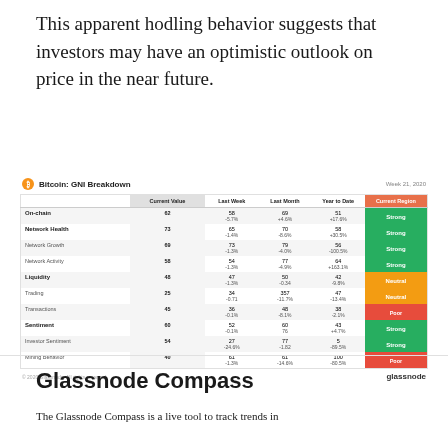This apparent hodling behavior suggests that investors may have an optimistic outlook on price in the near future.
[Figure (table-as-image): Bitcoin: GNI Breakdown table showing Current Value, Last Week, Last Month, Year to Date, and Current Region columns for metrics including On-chain, Network Health, Network Growth, Network Activity, Liquidity, Trading, Transactions, Sentiment, Investor Sentiment, Mining Behavior. Dated Week 21, 2020. Signals shown as colored badges (Strong/green, Neutral/orange, Poor/red).]
Glassnode Compass
The Glassnode Compass is a live tool to track trends in